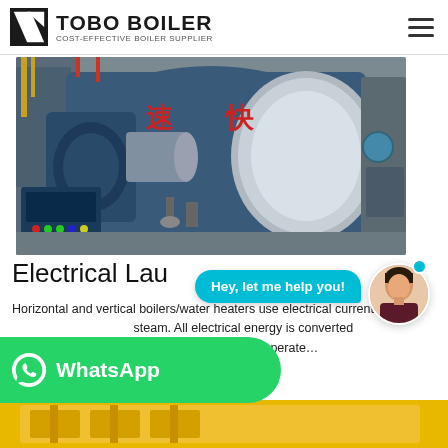TOBO BOILER — COST-EFFECTIVE BOILER SUPPLIER
[Figure (photo): Industrial boiler equipment — large blue horizontal boiler with burner and control panel in a factory setting; Chinese characters on boiler body]
Electrical Lau...
Horizontal and vertical boilers/water heaters use electrical current ...steam. All electrical energy is converted ...trols, each boiler is simple to operate…
[Figure (photo): Chat assistant overlay: cyan speech bubble saying 'Hey, let me help you!' with female avatar and WhatsApp green button]
[Figure (photo): Bottom strip showing yellow/orange industrial equipment image, partially visible]